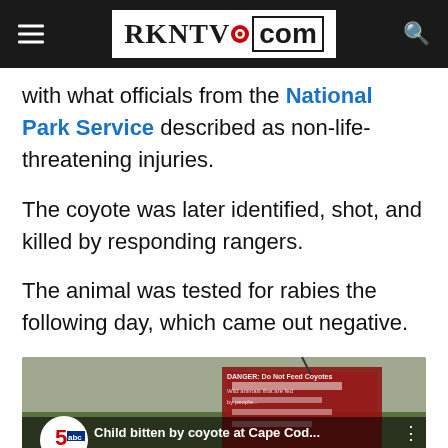RKNTV.com
with what officials from the National Park Service described as non-life-threatening injuries.
The coyote was later identified, shot, and killed by responding rangers.
The animal was tested for rabies the following day, which came out negative.
[Figure (screenshot): YouTube video thumbnail showing 'Child bitten by coyote at Cape Cod...' with WCVB 5 ABC logo and a danger sign in the background]